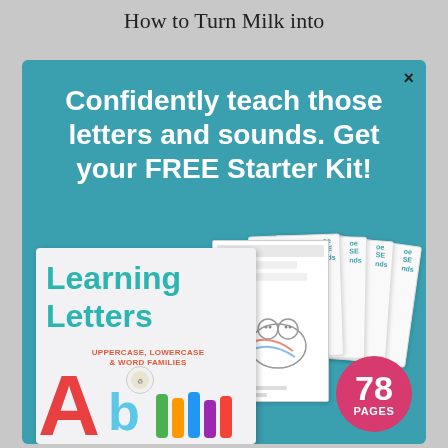How to Turn Milk into
[Figure (infographic): Educational popup/modal with teal background showing 'Confidently teach those letters and sounds. Get your FREE Starter Kit!' headline, with images of 'Learning Letters: Uppercase, Lowercase & Word Families' book (78 pages badge) and worksheet pages stacked behind it. A close (x) button is in the top right corner.]